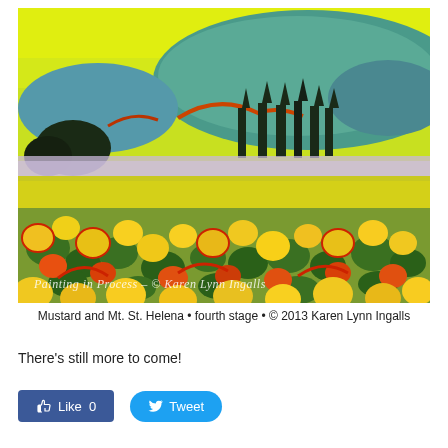[Figure (illustration): Colorful expressionist painting of a mustard field with mountains in background. Bright yellows, greens, reds, and oranges depicting flowers in foreground, lavender misty area in middle, dark tree silhouettes, and teal-blue mountains under a yellow-green sky. Watermark reads: Painting in Process – © Karen Lynn Ingalls]
Mustard and Mt. St. Helena • fourth stage • © 2013 Karen Lynn Ingalls
There's still more to come!
[Figure (other): Social media buttons: a blue Facebook Like button showing 'Like 0' and a blue rounded Twitter Tweet button]